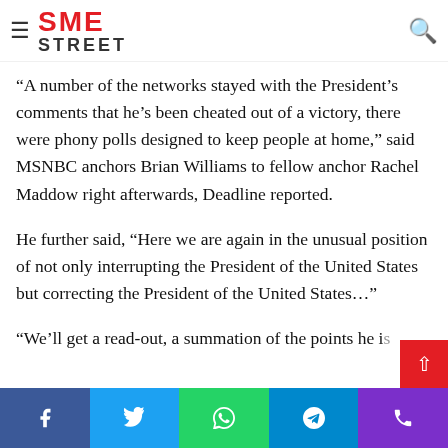SME STREET
cut a... Disney-owned network had also cut short... end of Trump's speech.
“A number of the networks stayed with the President’s comments that he’s been cheated out of a victory, there were phony polls designed to keep people at home,” said MSNBC anchors Brian Williams to fellow anchor Rachel Maddow right afterwards, Deadline reported.
He further said, “Here we are again in the unusual position of not only interrupting the President of the United States but correcting the President of the United States…”
“We’ll get a read-out, a summation of the points he is still making from the briefing room,” the former NBC…
Facebook | Twitter | WhatsApp | Telegram | Phone